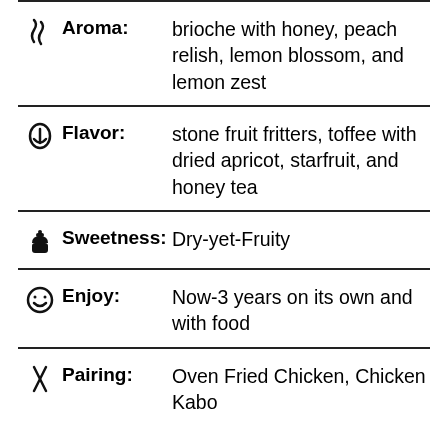Aroma: brioche with honey, peach relish, lemon blossom, and lemon zest
Flavor: stone fruit fritters, toffee with dried apricot, starfruit, and honey tea
Sweetness: Dry-yet-Fruity
Enjoy: Now-3 years on its own and with food
Pairing: Oven Fried Chicken, Chicken Kabobs, Cold...